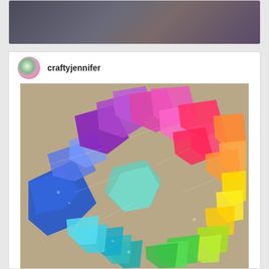[Figure (photo): Top portion of a quilt or textile photo, showing dark grey/blue fabric, partially visible]
[Figure (photo): Instagram-style post by user 'craftyjennifer' showing a colorful star-shaped quilt laid out on the floor. The quilt features rainbow colors arranged in a large 8-pointed star pattern using patchwork triangles and hexagons, with sections in purple, pink, red, orange, yellow, green, teal, and blue.]
craftyjennifer